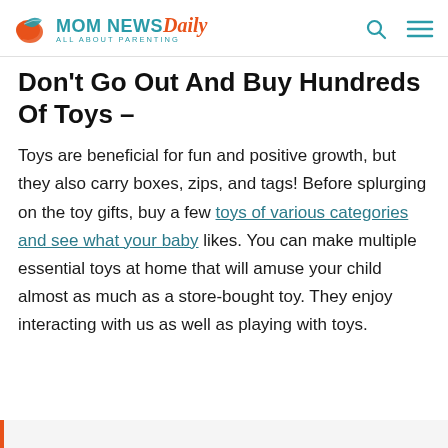MOM NEWS Daily — ALL ABOUT PARENTING
Don't Go Out And Buy Hundreds Of Toys –
Toys are beneficial for fun and positive growth, but they also carry boxes, zips, and tags! Before splurging on the toy gifts, buy a few toys of various categories and see what your baby likes. You can make multiple essential toys at home that will amuse your child almost as much as a store-bought toy. They enjoy interacting with us as well as playing with toys.